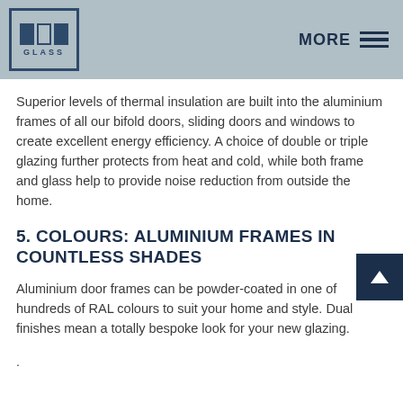ODC GLASS | MORE
Superior levels of thermal insulation are built into the aluminium frames of all our bifold doors, sliding doors and windows to create excellent energy efficiency. A choice of double or triple glazing further protects from heat and cold, while both frame and glass help to provide noise reduction from outside the home.
5. COLOURS: ALUMINIUM FRAMES IN COUNTLESS SHADES
Aluminium door frames can be powder-coated in one of hundreds of RAL colours to suit your home and style. Dual finishes mean a totally bespoke look for your new glazing.
.